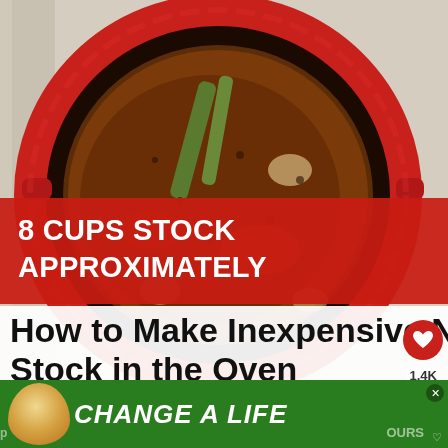[Figure (photo): Overhead view of a red Dutch oven/pot containing simmering dark brown stock/broth with bones, vegetables, and bubbling liquid. The pot has handles on both sides.]
8 CUPS STOCK APPROXIMATELY
How to Make Inexpensive No Fuss Chicken or Beef Stock in the Oven
[Figure (photo): What's Next thumbnail: Old Fashioned Chicken...]
[Figure (photo): Advertisement banner with dog image and text 'CHANGE A LIFE']